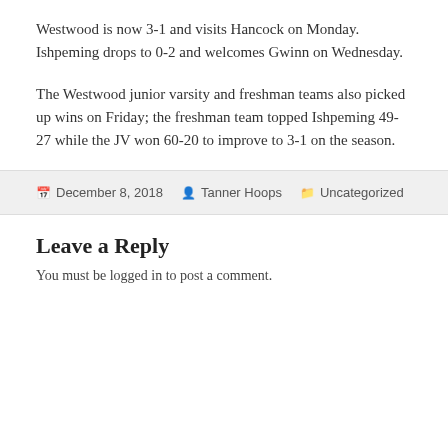Westwood is now 3-1 and visits Hancock on Monday. Ishpeming drops to 0-2 and welcomes Gwinn on Wednesday.
The Westwood junior varsity and freshman teams also picked up wins on Friday; the freshman team topped Ishpeming 49-27 while the JV won 60-20 to improve to 3-1 on the season.
December 8, 2018  Tanner Hoops  Uncategorized
Leave a Reply
You must be logged in to post a comment.